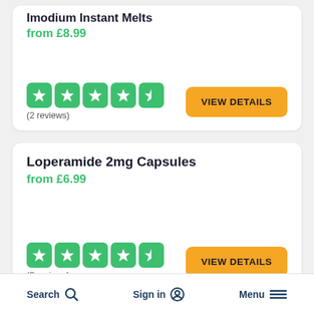Imodium Instant Melts
from £8.99
(2 reviews)
VIEW DETAILS
Loperamide 2mg Capsules
from £6.99
(2 reviews)
VIEW DETAILS
Search  Sign in  Menu